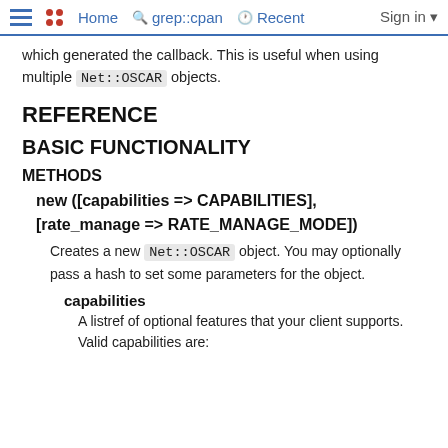Home  grep::cpan  Recent  Sign in
which generated the callback. This is useful when using multiple Net::OSCAR objects.
REFERENCE
BASIC FUNCTIONALITY
METHODS
new ([capabilities => CAPABILITIES], [rate_manage => RATE_MANAGE_MODE])
Creates a new Net::OSCAR object. You may optionally pass a hash to set some parameters for the object.
capabilities
A listref of optional features that your client supports. Valid capabilities are: